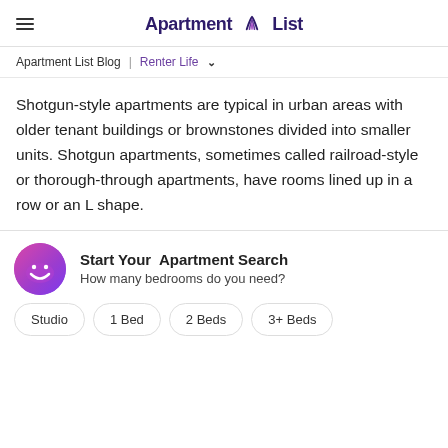Apartment List
Apartment List Blog  |  Renter Life
Shotgun-style apartments are typical in urban areas with older tenant buildings or brownstones divided into smaller units. Shotgun apartments, sometimes called railroad-style or thorough-through apartments, have rooms lined up in a row or an L shape.
Start Your Apartment Search
How many bedrooms do you need?
Studio  1 Bed  2 Beds  3+ Beds